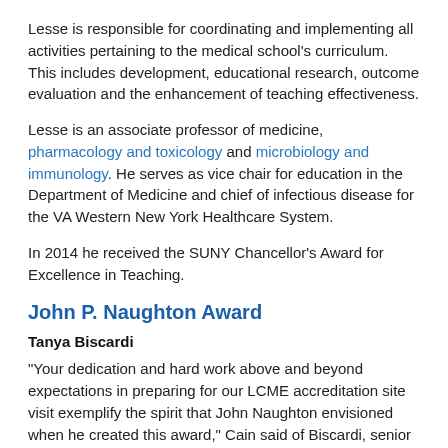Lesse is responsible for coordinating and implementing all activities pertaining to the medical school's curriculum. This includes development, educational research, outcome evaluation and the enhancement of teaching effectiveness.
Lesse is an associate professor of medicine, pharmacology and toxicology and microbiology and immunology. He serves as vice chair for education in the Department of Medicine and chief of infectious disease for the VA Western New York Healthcare System.
In 2014 he received the SUNY Chancellor's Award for Excellence in Teaching.
John P. Naughton Award
Tanya Biscardi
“Your dedication and hard work above and beyond expectations in preparing for our LCME accreditation site visit exemplify the spirit that John Naughton envisioned when he created this award,” Cain said of Biscardi, senior accreditation